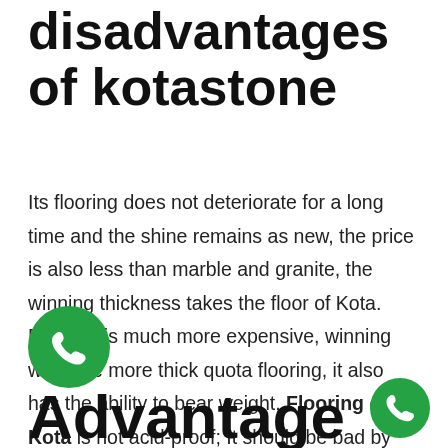disadvantages of kotastone
Its flooring does not deteriorate for a long time and the shine remains as new, the price is also less than marble and granite, the winning thickness takes the floor of Kota. Flooring is much more expensive, winning will have more thick quota flooring, it also has the ability to bear weight, Flooring of Kota is not acid-proof; It should be bad by applying polished Kota flooring in the outside area, it should not be bad in the open area. scratching occurs when rubbing a sharp object in the floor of the Kota, whereas in granite it does no
Advantage